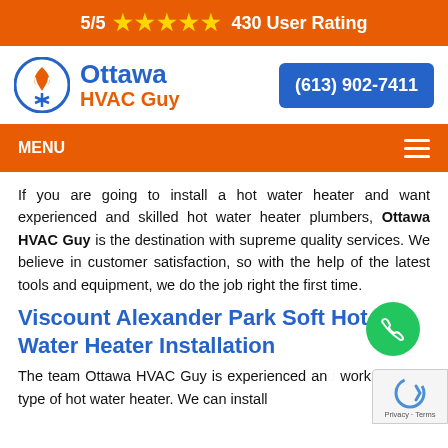5/5 ★★★★★ 430 User Rating
[Figure (logo): Ottawa HVAC Guy logo with flame and snowflake icon]
(613) 902-7411
MENU
If you are going to install a hot water heater and want experienced and skilled hot water heater plumbers, Ottawa HVAC Guy is the destination with supreme quality services. We believe in customer satisfaction, so with the help of the latest tools and equipment, we do the job right the first time.
Viscount Alexander Park Soft Hot Water Heater Installation
The team Ottawa HVAC Guy is experienced and work with any type of hot water heater. We can install